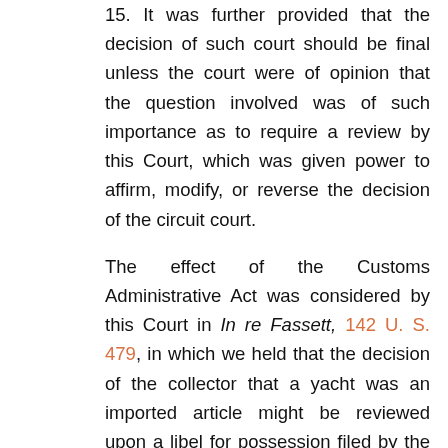15. It was further provided that the decision of such court should be final unless the court were of opinion that the question involved was of such importance as to require a review by this Court, which was given power to affirm, modify, or reverse the decision of the circuit court.
The effect of the Customs Administrative Act was considered by this Court in In re Fassett, 142 U. S. 479, in which we held that the decision of the collector that a yacht was an imported article might be reviewed upon a libel for possession filed by the owner notwithstanding the Customs Administrative Act. It was held that the review of the decision of the Board of General Appraisers, provided for by section 15 of that act, was limited to decisions of the board "as to the construction of the law and the facts respecting the classification"
Page 182 U. S. 176
of imported merchandise "and the rate of duty imposed